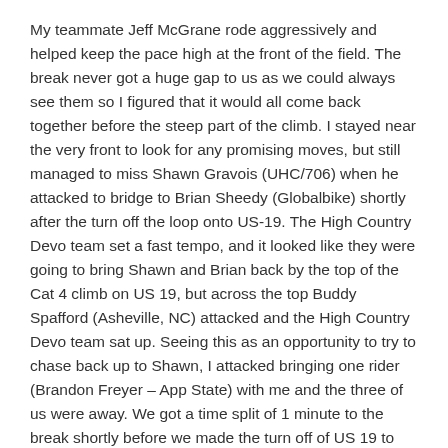My teammate Jeff McGrane rode aggressively and helped keep the pace high at the front of the field. The break never got a huge gap to us as we could always see them so I figured that it would all come back together before the steep part of the climb. I stayed near the very front to look for any promising moves, but still managed to miss Shawn Gravois (UHC/706) when he attacked to bridge to Brian Sheedy (Globalbike) shortly after the turn off the loop onto US-19. The High Country Devo team set a fast tempo, and it looked like they were going to bring Shawn and Brian back by the top of the Cat 4 climb on US 19, but across the top Buddy Spafford (Asheville, NC) attacked and the High Country Devo team sat up. Seeing this as an opportunity to try to chase back up to Shawn, I attacked bringing one rider (Brandon Freyer – App State) with me and the three of us were away. We got a time split of 1 minute to the break shortly before we made the turn off of US 19 to head towards the base of the official climb.